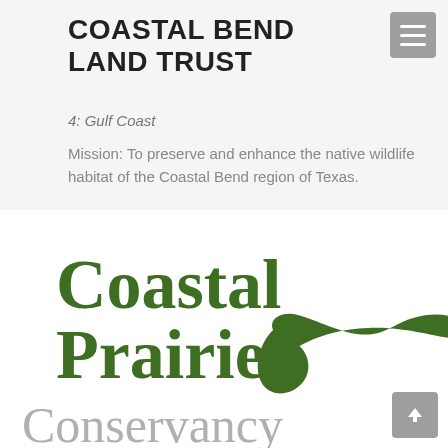COASTAL BEND LAND TRUST
4: Gulf Coast
Mission: To preserve and enhance the native wildlife habitat of the Coastal Bend region of Texas.
[Figure (logo): Coastal Prairie Conservancy logo featuring bold green serif text reading 'Coastal Prairie' with a green flying bird/duck silhouette, and gray text reading 'Conservancy' below]